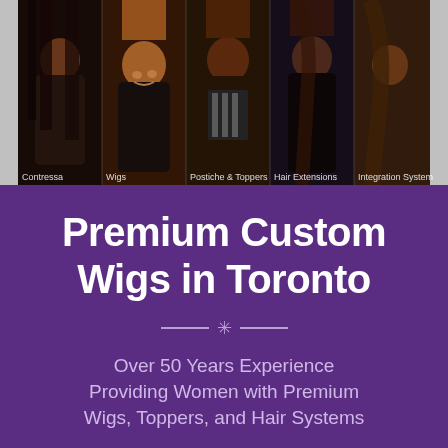[Figure (photo): Photo collage strip showing five women with different hair styles. Labels visible: Contressa, Wigs, Postiche & Toppers, Hair Extensions, Integration Systems]
Premium Custom Wigs in Toronto
Over 50 Years Experience Providing Women with Premium Wigs, Toppers, and Hair Systems